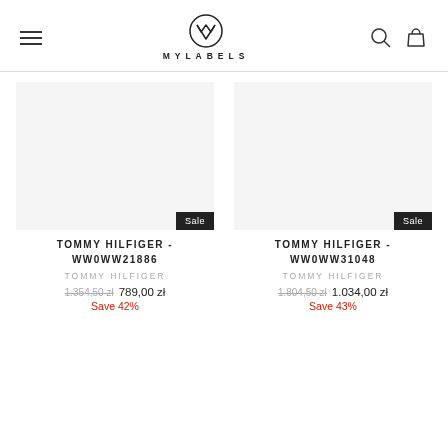MYLABELS
TOMMY HILFIGER - WW0WW21886
TOMMY HILFIGER
1.354,50 zł  789,00 zł
Save 42%
TOMMY HILFIGER - WW0WW31048
TOMMY HILFIGER
1.804,50 zł  1.034,00 zł
Save 43%